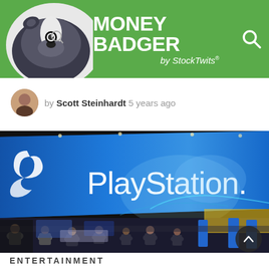MONEY BADGER by StockTwits
by Scott Steinhardt 5 years ago
[Figure (photo): PlayStation booth at a gaming expo (E3), showing large blue banner with PlayStation logo and crowds of people on the floor below]
ENTERTAINMENT